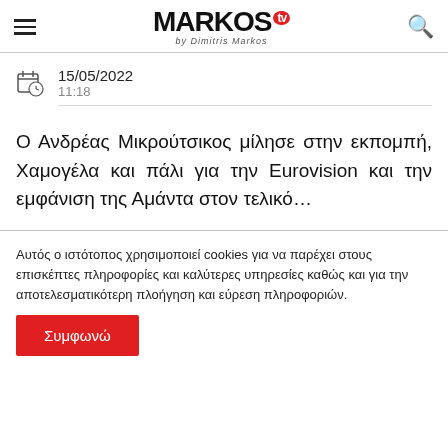MARKOS tv by Dimitris Markos
15/05/2022
11:18
Ο Ανδρέας Μικρούτσικος μίλησε στην εκπομπή, Χαμογέλα και πάλι για την Eurovision και την εμφάνιση της Αμάντα στον τελικό…
Αυτός ο ιστότοπος χρησιμοποιεί cookies για να παρέχει στους επισκέπτες πληροφορίες και καλύτερες υπηρεσίες καθώς και για την αποτελεσματικότερη πλοήγηση και εύρεση πληροφοριών.
Συμφωνώ